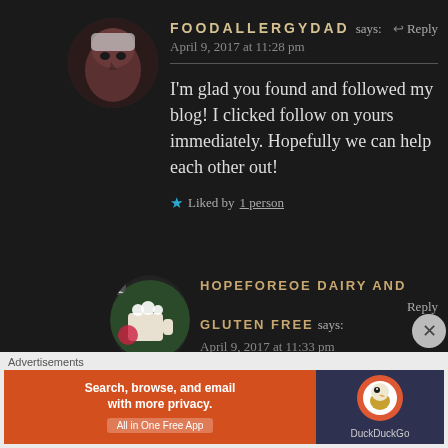[Figure (photo): Circular avatar photo of a person looking upward, dark background]
FOODALLERGYDAD says:
↩ Reply
April 9, 2017 at 11:28 pm
I'm glad you found and followed my blog! I clicked follow on yours immediately. Hopefully we can help each other out!
★ Liked by 1 person
[Figure (photo): Circular avatar photo with a hot chocolate mug and holiday decorations, small user icon overlay]
HOPEFOREOE DAIRY AND GLUTEN FREE says:
Reply
April 9, 2017 at 11:33 pm
Advertisements
[Figure (infographic): DuckDuckGo advertisement banner: orange left panel 'Search, browse, and email with more privacy. All in One Free App', dark right panel with DuckDuckGo duck logo]